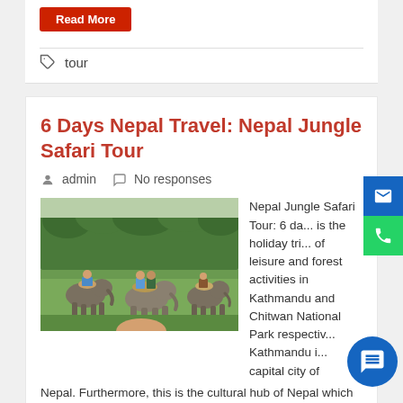Read More
tour
6 Days Nepal Travel: Nepal Jungle Safari Tour
admin   No responses
[Figure (photo): People riding elephants through a green grassy field with trees in the background — a jungle safari scene in Chitwan, Nepal]
Nepal Jungle Safari Tour: 6 da... is the holiday tri... of leisure and forest activities in Kathmandu and Chitwan National Park respectiv... Kathmandu i... capital city of
Nepal. Furthermore, this is the cultural hub of Nepal which has